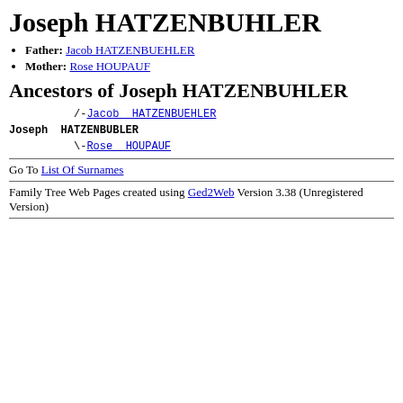Joseph HATZENBUHLER
Father: Jacob HATZENBUEHLER
Mother: Rose HOUPAUF
Ancestors of Joseph HATZENBUHLER
/-Jacob HATZENBUEHLER
Joseph HATZENBUBLER
\-Rose HOUPAUF
Go To List Of Surnames
Family Tree Web Pages created using Ged2Web Version 3.38 (Unregistered Version)